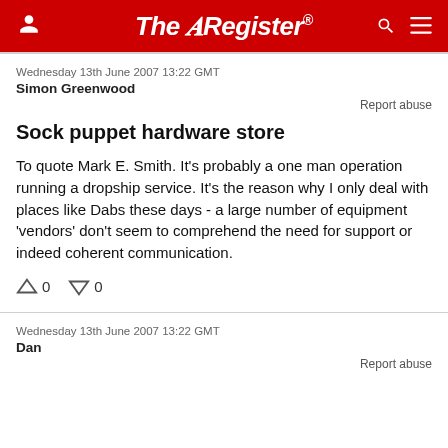The Register
Wednesday 13th June 2007 13:22 GMT
Simon Greenwood
Report abuse
Sock puppet hardware store
To quote Mark E. Smith. It's probably a one man operation running a dropship service. It's the reason why I only deal with places like Dabs these days - a large number of equipment 'vendors' don't seem to comprehend the need for support or indeed coherent communication.
0  0
Wednesday 13th June 2007 13:22 GMT
Dan
Report abuse